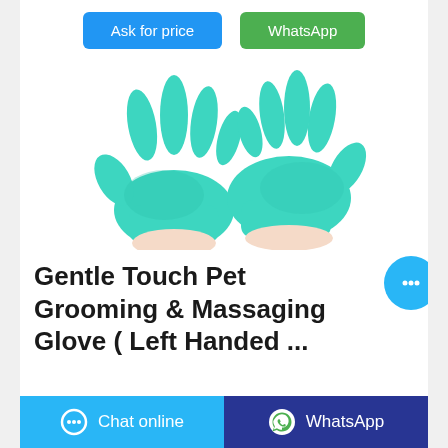[Figure (other): Two teal/turquoise latex gloves on a white background — product photo for pet grooming gloves]
Gentle Touch Pet Grooming & Massaging Glove ( Left Handed ...
Ask for price
WhatsApp
Chat online
WhatsApp